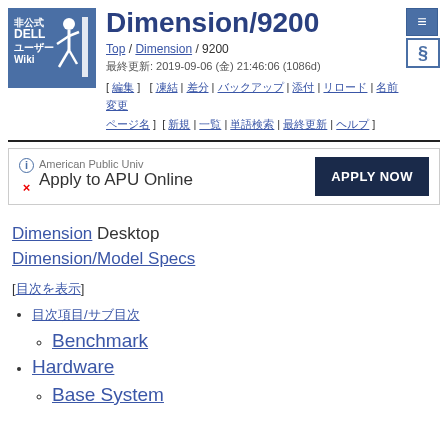Dimension/9200
Top / Dimension / 9200
最終更新: 2019-09-06 (金) 21:46:06 (1086d)
[ 編集 ] [ 凍結 | 差分 | バックアップ | 添付 | リロード | 名前変更 ] [ 新規 | 一覧 | 単語検索 | 最終更新 | ヘルプ ]
[Figure (logo): 非公式 DELL ユーザー Wiki logo with running person icon]
American Public Univ
Apply to APU Online
APPLY NOW
Dimension Desktop
Dimension/Model Specs
[目次を表示]
目次項目/サブ項目
Benchmark
Hardware
Base System